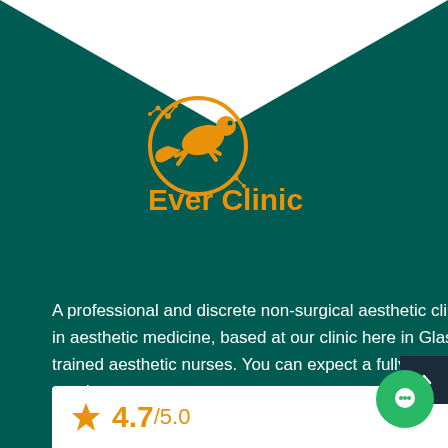[Figure (logo): Ever Clinic logo: orange gecko/lizard forming a circle with floral elements, with 'Ever Clinic' text in orange below]
A professional and discrete non-surgical aesthetic clinic, led by Dr Cormac Convery. An international expert in aesthetic medicine, based at our clinic here in Glasgow. The Ever Clinic's team are highly specialised and trained aesthetic nurses. You can expect a fully tailored service and personalised treatment plan to suit your requirements.
4.7/5.0